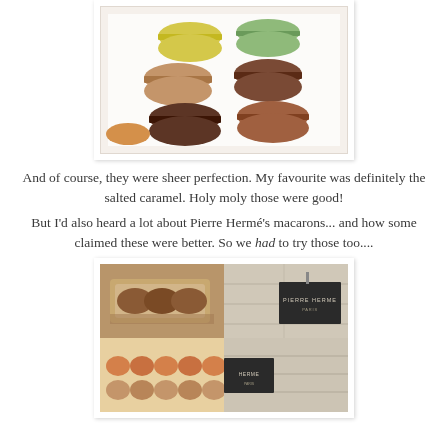[Figure (photo): Box of colorful French macarons including yellow, green, and chocolate/brown varieties]
And of course, they were sheer perfection. My favourite was definitely the salted caramel. Holy moly those were good!
But I'd also heard a lot about Pierre Hermé's macarons... and how some claimed these were better. So we had to try those too....
[Figure (photo): Four-panel collage: top-left shows packaged pastries, top-right shows Pierre Hermé Paris sign, bottom-left shows rows of macarons, bottom-right continues the store sign photo]